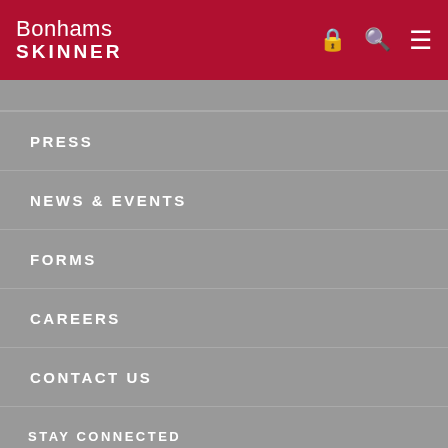Bonhams SKINNER
PRESS
NEWS & EVENTS
FORMS
CAREERS
CONTACT US
STAY CONNECTED
Sign up to receive emails announcing Skinner auctions and events